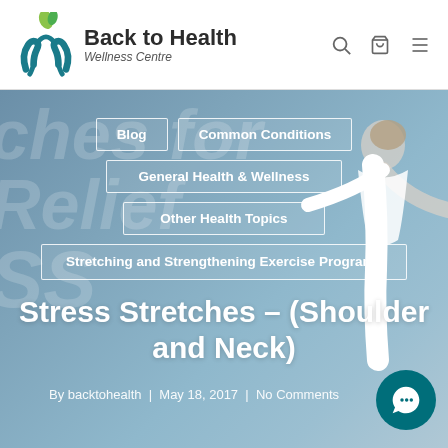[Figure (logo): Back to Health Wellness Centre logo with teal hands icon and green leaf]
Back to Health Wellness Centre
[Figure (photo): Hero background photo of woman stretching arms out, overlaid with navigation menu boxes and page title. Background shows text watermark reading 'ches for Relief SS']
Blog
Common Conditions
General Health & Wellness
Other Health Topics
Stretching and Strengthening Exercise Programs
Stress Stretches – (Shoulder and Neck)
By backtohealth  |  May 18, 2017  |  No Comments